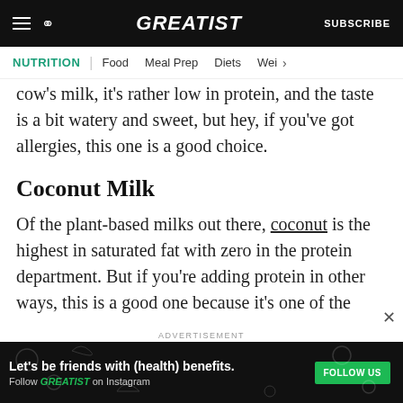GREATIST | NUTRITION | Food | Meal Prep | Diets | Wei >
cow's milk, it's rather low in protein, and the taste is a bit watery and sweet, but hey, if you've got allergies, this one is a good choice.
Coconut Milk
Of the plant-based milks out there, coconut is the highest in saturated fat with zero in the protein department. But if you're adding protein in other ways, this is a good one because it's one of the
[Figure (other): Advertisement banner: Let's be friends with (health) benefits. Follow GREATIST on Instagram. FOLLOW US button.]